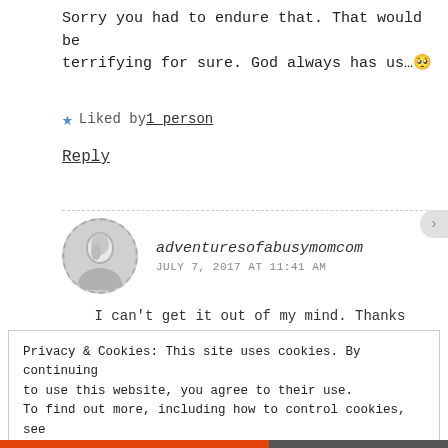Sorry you had to endure that. That would be terrifying for sure. God always has us…😢
★ Liked by 1 person
Reply
adventuresofabusymomcom
JULY 7, 2017 AT 11:41 AM
I can't get it out of my mind. Thanks
Privacy & Cookies: This site uses cookies. By continuing to use this website, you agree to their use. To find out more, including how to control cookies, see here: Cookie Policy
Close and accept